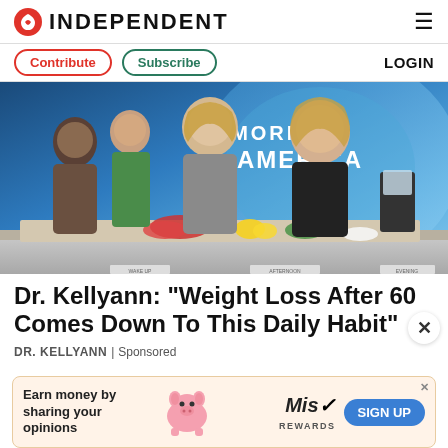INDEPENDENT
Contribute | Subscribe | LOGIN
[Figure (photo): Photo of Dr. Kellyann and guests on Good Morning America set with food and blenders on the table, blue GMA background]
Dr. Kellyann: "Weight Loss After 60 Comes Down To This Daily Habit"
DR. KELLYANN | Sponsored
[Figure (infographic): Advertisement banner: Earn money by sharing your opinions – Miss Rewards – SIGN UP]